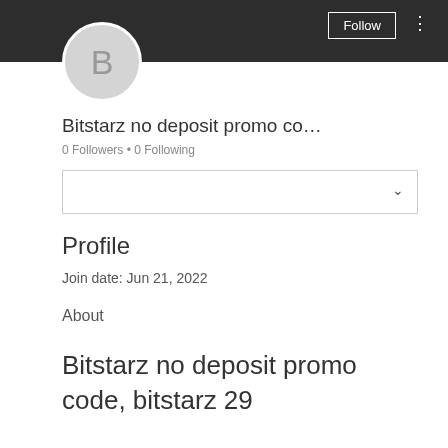[Figure (screenshot): Dark header bar with Follow button and three-dot menu]
[Figure (illustration): Circular avatar with letter B on light grey background]
Bitstarz no deposit promo co…
0 Followers • 0 Following
[Figure (screenshot): Dropdown selector box with chevron]
Profile
Join date: Jun 21, 2022
About
Bitstarz no deposit promo code, bitstarz 29